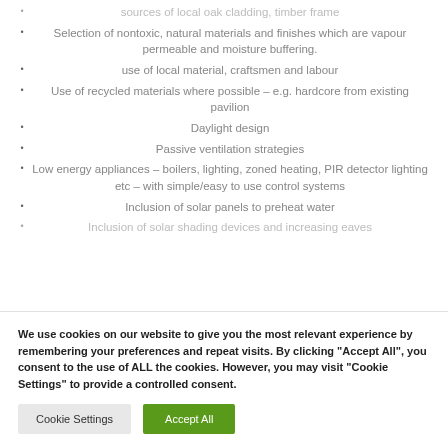sources of local oak cladding, timber frame
Selection of nontoxic, natural materials and finishes which are vapour permeable and moisture buffering.
use of local material, craftsmen and labour
Use of recycled materials where possible – e.g. hardcore from existing pavilion
Daylight design
Passive ventilation strategies
Low energy appliances – boilers, lighting, zoned heating, PIR detector lighting etc – with simple/easy to use control systems
Inclusion of solar panels to preheat water
Inclusion of solar shading devices and increasing eaves
We use cookies on our website to give you the most relevant experience by remembering your preferences and repeat visits. By clicking "Accept All", you consent to the use of ALL the cookies. However, you may visit "Cookie Settings" to provide a controlled consent.